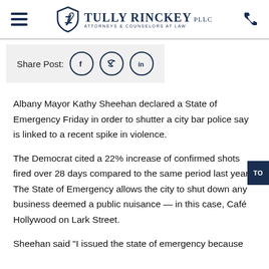Tully Rinckey PLLC Attorneys & Counselors at Law
Share Post:
Albany Mayor Kathy Sheehan declared a State of Emergency Friday in order to shutter a city bar police say is linked to a recent spike in violence.
The Democrat cited a 22% increase of confirmed shots fired over 28 days compared to the same period last year. The State of Emergency allows the city to shut down any business deemed a public nuisance — in this case, Café Hollywood on Lark Street.
Sheehan said "I issued the state of emergency because